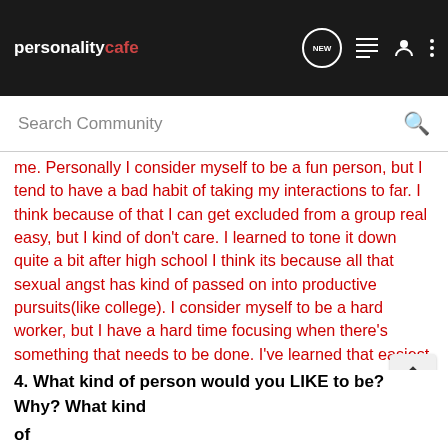personality cafe — NEW, list, user, more icons
Search Community
me. Personally I consider myself to be a fun person, but I tend to have a bad habit of taking my interactions to far. I think because of that I can get excluded from a group real easy, but I kind of don't care. I learned to tone it down quite a bit after high school I think its because all that sexual angst has kind of passed on into productive pursuits(like college). I consider myself to be a hard worker, but I have a hard time focusing when there's something that needs to be done. I've learned that easiest way to do something is just to do it. I also have a hard time in classes that require tons of memory recall because of that I am currently failing my Global issues class. I think my strong point is math. I don't know why, but I have always ha a great math mind.
4. What kind of person would you LIKE to be? Why? What kind of